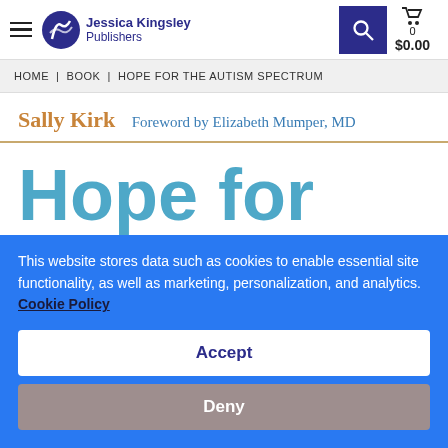Jessica Kingsley Publishers
HOME | BOOK | HOPE FOR THE AUTISM SPECTRUM
Sally Kirk   Foreword by Elizabeth Mumper, MD
Hope for
This website stores data such as cookies to enable essential site functionality, as well as marketing, personalization, and analytics. Cookie Policy
Accept
Deny